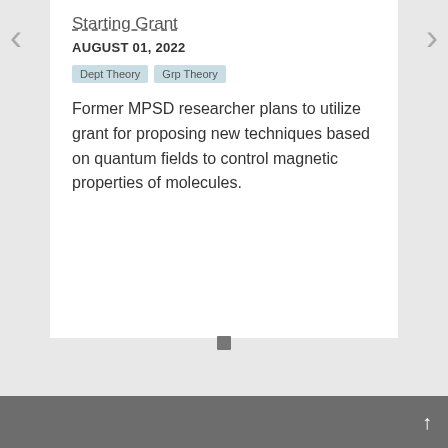Starting Grant
AUGUST 01, 2022
Dept Theory
Grp Theory
Former MPSD researcher plans to utilize grant for proposing new techniques based on quantum fields to control magnetic properties of molecules.